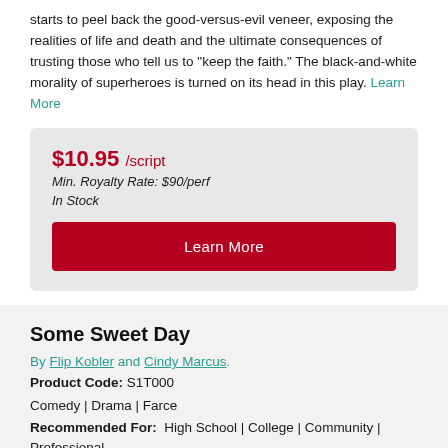starts to peel back the good-versus-evil veneer, exposing the realities of life and death and the ultimate consequences of trusting those who tell us to "keep the faith." The black-and-white morality of superheroes is turned on its head in this play. Learn More
$10.95 /script
Min. Royalty Rate: $90/perf
In Stock
Learn More
Some Sweet Day
By Flip Kobler and Cindy Marcus.
Product Code: S1T000
Comedy | Drama | Farce
Recommended For:  High School | College | Community | Professional
Cast Size: 3m., 4w.